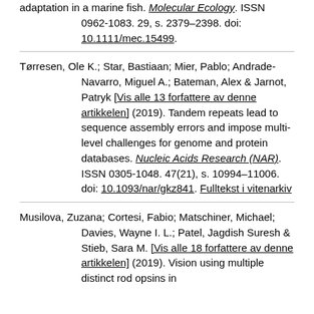adaptation in a marine fish. Molecular Ecology. ISSN 0962-1083. 29, s. 2379–2398. doi: 10.1111/mec.15499.
Tørresen, Ole K.; Star, Bastiaan; Mier, Pablo; Andrade-Navarro, Miguel A.; Bateman, Alex & Jarnot, Patryk [Vis alle 13 forfattere av denne artikkelen] (2019). Tandem repeats lead to sequence assembly errors and impose multi-level challenges for genome and protein databases. Nucleic Acids Research (NAR). ISSN 0305-1048. 47(21), s. 10994–11006. doi: 10.1093/nar/gkz841. Fulltekst i vitenarkiv
Musilova, Zuzana; Cortesi, Fabio; Matschiner, Michael; Davies, Wayne I. L.; Patel, Jagdish Suresh & Stieb, Sara M. [Vis alle 18 forfattere av denne artikkelen] (2019). Vision using multiple distinct rod opsins in